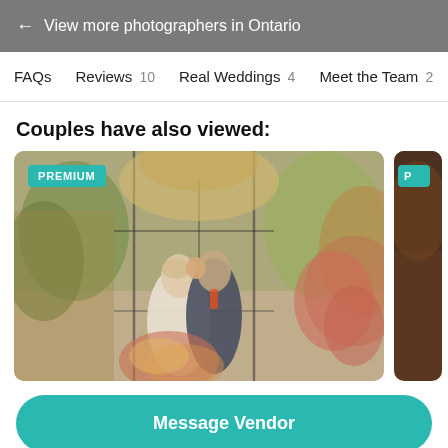← View more photographers in Ontario
FAQs   Reviews 10   Real Weddings 4   Meet the Team 2
Couples have also viewed:
[Figure (photo): Wedding photo showing bride and groom kissing in front of a boho floral arch with dried grasses and tropical foliage. A PREMIUM badge is shown in the top left corner.]
Message Vendor